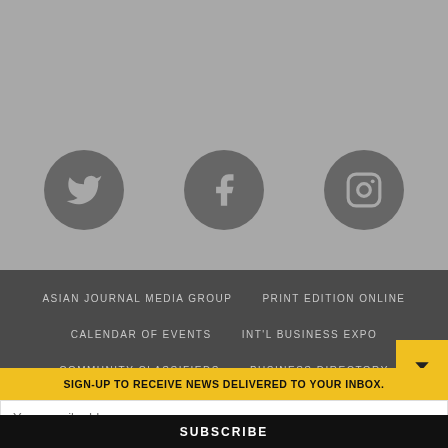[Figure (illustration): Gray background section with three dark gray circular social media icons: Twitter bird, Facebook f, and Instagram camera]
ASIAN JOURNAL MEDIA GROUP
PRINT EDITION ONLINE
CALENDAR OF EVENTS
INT'L BUSINESS EXPO
COMMUNITY CLASSIFIEDS
BUSINESS DIRECTORY
SIGN-UP TO RECEIVE NEWS DELIVERED TO YOUR INBOX.
Your email address..
SUBSCRIBE